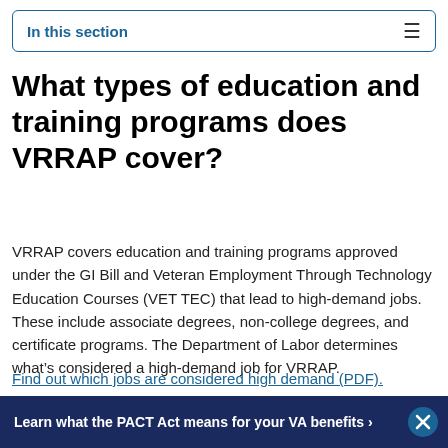In this section
What types of education and training programs does VRRAP cover?
VRRAP covers education and training programs approved under the GI Bill and Veteran Employment Through Technology Education Courses (VET TEC) that lead to high-demand jobs. These include associate degrees, non-college degrees, and certificate programs. The Department of Labor determines what’s considered a high-demand job for VRRAP.
Find out which jobs are considered high demand (PDF).
Learn what the PACT Act means for your VA benefits ›